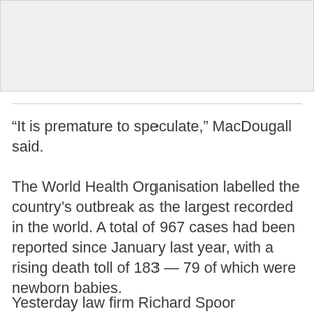[Figure (other): Gray rectangular image placeholder at the top of the page]
“It is premature to speculate,” MacDougall said.
The World Health Organisation labelled the country’s outbreak as the largest recorded in the world. A total of 967 cases had been reported since January last year, with a rising death toll of 183 — 79 of which were newborn babies.
Yesterday law firm Richard Spoor